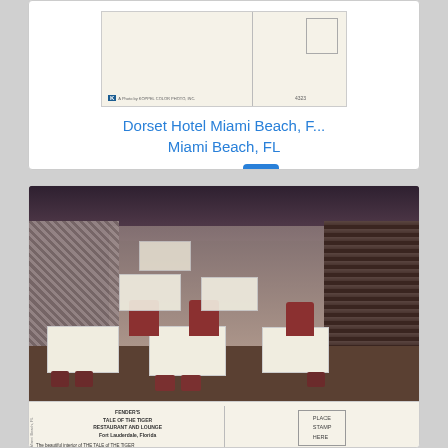[Figure (photo): Back of a vintage postcard showing divided postcard layout with stamp area, Koppel Color Photo Inc. logo, and number 4323]
Dorset Hotel Miami Beach, F...
Miami Beach, FL
$14.95
[Figure (photo): Interior of Fender's Tale of the Tiger Restaurant and Lounge, Fort Lauderdale, Florida. Shows dining room with white tablecloths, red chairs, dark wood paneling, and decorative wallpaper.]
[Figure (photo): Back of postcard for Fender's Tale of the Tiger Restaurant and Lounge, Fort Lauderdale, Florida. Left side has descriptive text; right side has stamp box, POST CARD label, and Address line.]